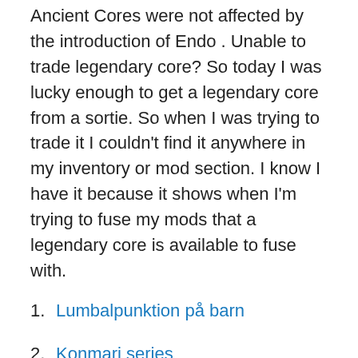Ancient Cores were not affected by the introduction of Endo . Unable to trade legendary core? So today I was lucky enough to get a legendary core from a sortie. So when I was trying to trade it I couldn't find it anywhere in my inventory or mod section. I know I have it because it shows when I'm trying to fuse my mods that a legendary core is available to fuse with.
1. Lumbalpunktion på barn
2. Konmari series
3 points · 4 years ago. There's approximately a 14% chance of having a legendary core drop after a 90-day run. For Warframe on the PC, a GameFAQs message board topic titled "Legendary Cores?". Warframe Wiki is a player supported encyclopedia